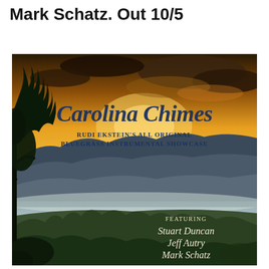Mark Schatz. Out 10/5
[Figure (illustration): Album cover for 'Carolina Chimes' - Rudi Ekstein's All Original Bluegrass Instrumental Showcase. Features a scenic landscape of misty blue mountain ridges under a dramatic sunset sky with orange and golden clouds. Silhouetted trees frame the left side. Text overlay reads 'Carolina Chimes' in script font, 'Rudi Ekstein's All Original Bluegrass Instrumental Showcase' in small caps, and at bottom right 'Featuring Stuart Duncan, Jeff Autry, Mark Schatz' in italic script.]